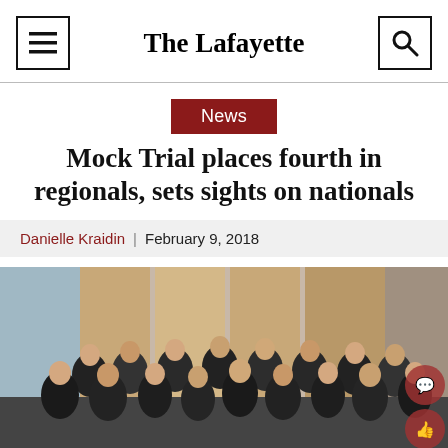The Lafayette
News
Mock Trial places fourth in regionals, sets sights on nationals
Danielle Kraidin | February 9, 2018
[Figure (photo): Group photo of Lafayette College Mock Trial team members posing together in what appears to be a courtroom or formal venue with wood paneling in the background.]